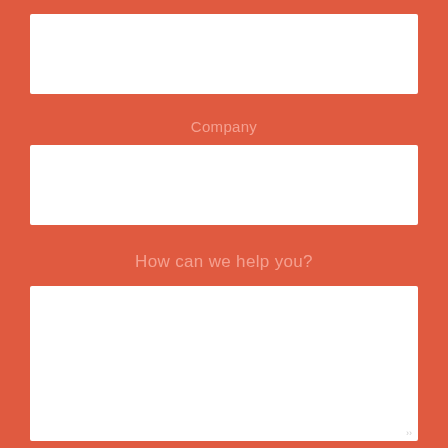[Figure (other): Empty white input field (first field, no label visible — partially cut off at top)]
Company
[Figure (other): Empty white input field for Company]
How can we help you?
[Figure (other): Empty white textarea for message input with resize handle]